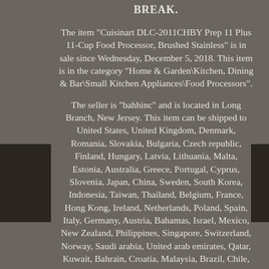BREAK.
The item "Cuisinart DLC-2011CHBY Prep 11 Plus 11-Cup Food Processor, Brushed Stainless" is in sale since Wednesday, December 5, 2018. This item is in the category "Home & Garden\Kitchen, Dining & Bar\Small Kitchen Appliances\Food Processors".
The seller is "bahhinc" and is located in Long Branch, New Jersey. This item can be shipped to United States, United Kingdom, Denmark, Romania, Slovakia, Bulgaria, Czech republic, Finland, Hungary, Latvia, Lithuania, Malta, Estonia, Australia, Greece, Portugal, Cyprus, Slovenia, Japan, China, Sweden, South Korea, Indonesia, Taiwan, Thailand, Belgium, France, Hong Kong, Ireland, Netherlands, Poland, Spain, Italy, Germany, Austria, Bahamas, Israel, Mexico, New Zealand, Philippines, Singapore, Switzerland, Norway, Saudi arabia, United arab emirates, Qatar, Kuwait, Bahrain, Croatia, Malaysia, Brazil, Chile, Costa rica, Dominican republic, Panama, Trinidad and tobago, Guatemala, El salvador, Honduras, Jamaica, Viet nam, Uruguay, Belize, Dominica, Grenada, Turks and caicos islands, Brunei darussalam, Bolivia, Ecuador, Egypt, Iceland, Jordan, Cambodia, Peru, Pakistan, Paraguay, ...